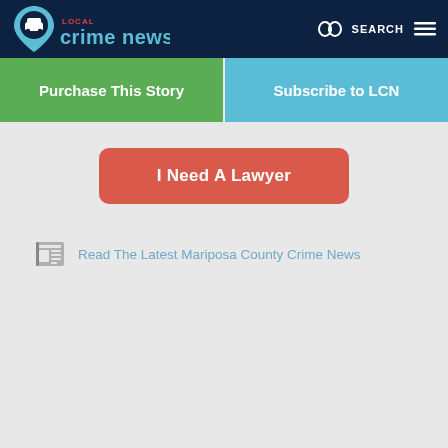[Figure (logo): Local Crime News logo with map pin icon containing a car, and text 'LOCAL crime news' in blue and red]
Purchase This Story
Subscribe to LCN
I Need A Lawyer
Read The Latest Mariposa County Crime News